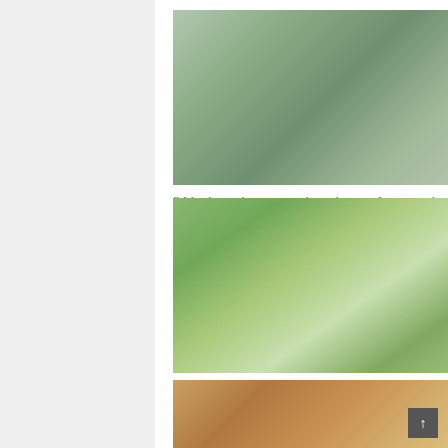[Figure (photo): People sitting together outdoors at a table, trees in background]
'We just have to be there for each other'
[Figure (photo): Hands holding a small decorative toy house with a heart-shaped hole, green plants in background]
Market shifts toward needed cooldown
[Figure (photo): Outdoor scene with bushes and flowers at sunset, building in background]
Community comes together over tragedies